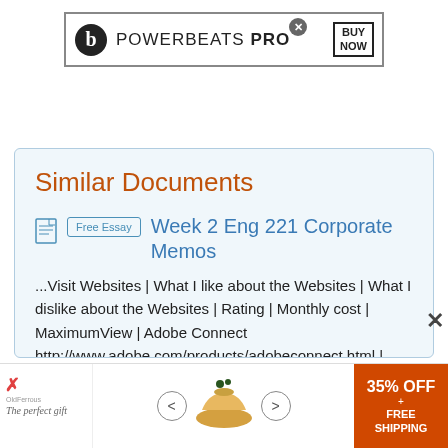[Figure (screenshot): Beats Powerbeats PRO advertisement banner with logo, text and BUY NOW box]
Similar Documents
Free Essay  Week 2 Eng 221 Corporate Memos
...Visit Websites | What I like about the Websites | What I dislike about the Websites | Rating | Monthly cost | MaximumView | Adobe Connect http://www.adobe.com/products/adobeconnect.html | With adobe connect enable the enterprise to standardize on a standardize web conferencing
[Figure (screenshot): Bottom advertisement: The perfect gift with 35% OFF + FREE SHIPPING]